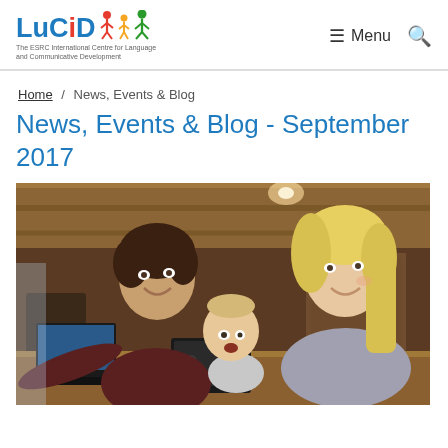LuCiD — The ESRC International Centre for Language and Communicative Development | Menu
Home / News, Events & Blog
News, Events & Blog - September 2017
[Figure (photo): A researcher and a mother with a baby looking at a laptop and eye-tracking device in a warm indoor setting.]